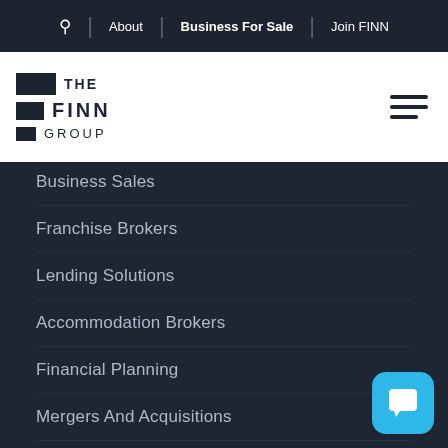🔍 | About | Business For Sale | Join FINN
[Figure (logo): The Finn Group logo with dark rectangular blocks and text]
Business Sales
Franchise Brokers
Lending Solutions
Accommodation Brokers
Financial Planning
Mergers And Acquisitions
Business Insurance
Consulting Services